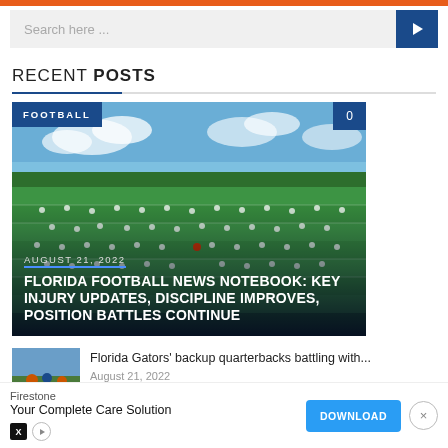Search here ...
RECENT POSTS
[Figure (photo): Aerial view of Florida Gators football practice on green field with players in drill formations. Blue sky with clouds and trees in background. Has FOOTBALL badge top-left and comment count '0' top-right, with date AUGUST 21, 2022 and article title overlay at bottom.]
FLORIDA FOOTBALL NEWS NOTEBOOK: KEY INJURY UPDATES, DISCIPLINE IMPROVES, POSITION BATTLES CONTINUE
[Figure (photo): Small thumbnail of football players in orange and blue uniforms on sideline.]
Florida Gators' backup quarterbacks battling with...
August 21, 2022
Firestone
Your Complete Care Solution
DOWNLOAD